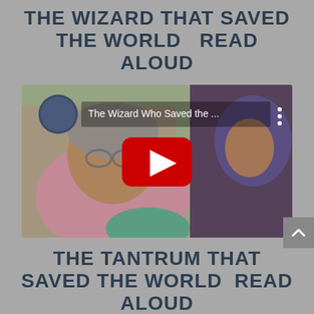THE WIZARD THAT SAVED THE WORLD   READ ALOUD
[Figure (screenshot): YouTube video thumbnail showing two illustrated characters - an elderly woman with glasses and gray hair wearing a pink shawl, and a young person in a purple hood. Video title reads 'The Wizard Who Saved the ...' with a red YouTube play button in the center and a circular logo in the top-left corner.]
THE TANTRUM THAT SAVED THE WORLD  READ ALOUD